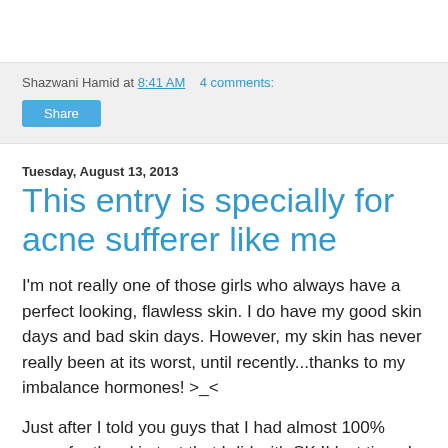Shazwani Hamid at 8:41 AM   4 comments:
Share
Tuesday, August 13, 2013
This entry is specially for acne sufferer like me
I'm not really one of those girls who always have a perfect looking, flawless skin. I do have my good skin days and bad skin days. However, my skin has never really been at its worst, until recently...thanks to my imbalance hormones! >_<
Just after I told you guys that I had almost 100% score for the skin test that I did with SK II last time, I developed kinda severe acne on my face! I don't know what happened. Maybe I was just really, really stressed out for the wedding..